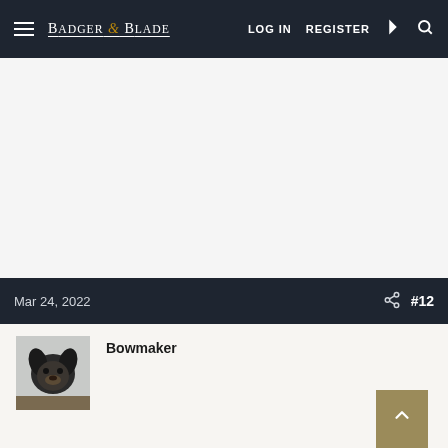Badger & Blade  LOG IN  REGISTER
Mar 24, 2022  #12
Bowmaker